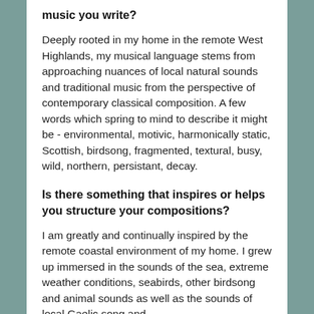music you write?
Deeply rooted in my home in the remote West Highlands, my musical language stems from approaching nuances of local natural sounds and traditional music from the perspective of contemporary classical composition. A few words which spring to mind to describe it might be - environmental, motivic, harmonically static, Scottish, birdsong, fragmented, textural, busy, wild, northern, persistant, decay.
Is there something that inspires or helps you structure your compositions?
I am greatly and continually inspired by the remote coastal environment of my home. I grew up immersed in the sounds of the sea, extreme weather conditions, seabirds, other birdsong and animal sounds as well as the sounds of local Gaelic song and